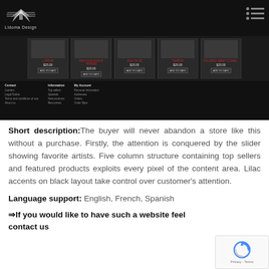[Figure (screenshot): Website screenshot of Lidoma Design store with dark/black theme, showing logo with wings, product thumbnails with ADD TO CART buttons priced at $25.00 each, and footer navigation links]
Short description: The buyer will never abandon a store like this without a purchase. Firstly, the attention is conquered by the slider showing favorite artists. Five column structure containing top sellers and featured products exploits every pixel of the content area. Lilac accents on black layout take control over customer's attention.
Language support: English, French, Spanish
⇒If you would like to have such a website feel contact us